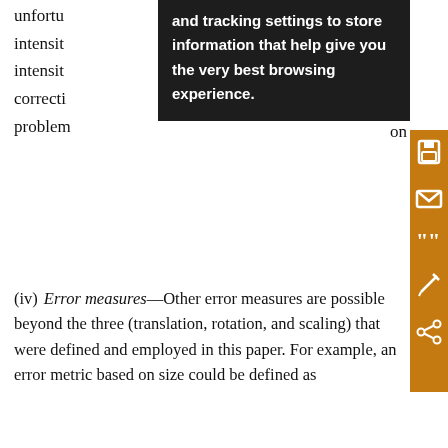unfortun...
intensit...
intensit...
correcti...on
problem...
[Figure (screenshot): Dark tooltip overlay reading: 'and tracking settings to store information that help give you the very best browsing experience.']
(iv) Error measures—Other error measures are possible beyond the three (translation, rotation, and scaling) that were defined and employed in this paper. For example, an error metric based on size could be defined as
View Expanded
One possible solution to the problem of low-intensity regions might be to break up large spatial areas into